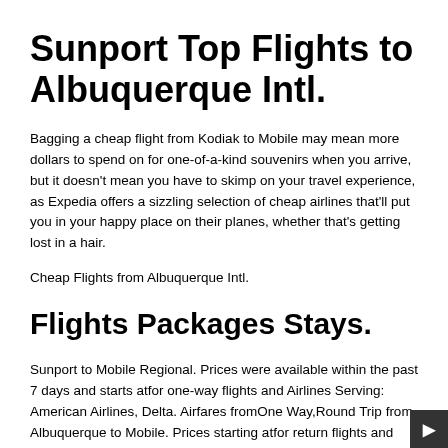Sunport Top Flights to Albuquerque Intl.
Bagging a cheap flight from Kodiak to Mobile may mean more dollars to spend on for one-of-a-kind souvenirs when you arrive, but it doesn't mean you have to skimp on your travel experience, as Expedia offers a sizzling selection of cheap airlines that'll put you in your happy place on their planes, whether that's getting lost in a hair.
Cheap Flights from Albuquerque Intl.
Flights Packages Stays.
Sunport to Mobile Regional. Prices were available within the past 7 days and starts atfor one-way flights and Airlines Serving: American Airlines, Delta. Airfares fromOne Way,Round Trip from Albuquerque to Mobile. Prices starting atfor return flights and